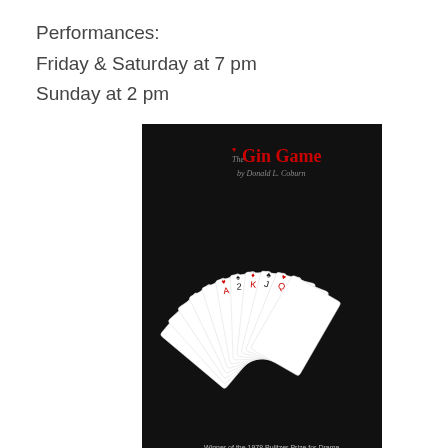Performances:
Friday & Saturday at 7 pm
Sunday at 2 pm
[Figure (photo): Book cover of 'The Gin Game' by Donald L. Coburn. Black background with a fan of playing cards and red title text. Subtitle reads 'Winner of the 1978 Pulitzer Prize for Drama'.]
An elderly man and woman play repeated games of gin in their retirement home, slowly coming to grips with what is left of their lives in their old age, in Donald L. Coburn's 1978 Pulitzer Prize-winning play.
All performances at
Sol Theatre